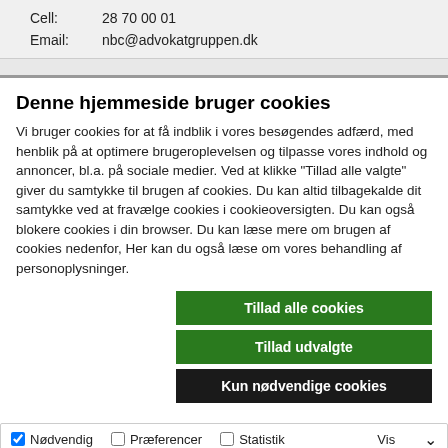Cell:  28 70 00 01
Email:  nbc@advokatgruppen.dk
Denne hjemmeside bruger cookies
Vi bruger cookies for at få indblik i vores besøgendes adfærd, med henblik på at optimere brugeroplevelsen og tilpasse vores indhold og annoncer, bl.a. på sociale medier. Ved at klikke "Tillad alle valgte" giver du samtykke til brugen af cookies. Du kan altid tilbagekalde dit samtykke ved at fravælge cookies i cookieoversigten. Du kan også blokere cookies i din browser. Du kan læse mere om brugen af cookies nedenfor, Her kan du også læse om vores behandling af personoplysninger.
Tillad alle cookies
Tillad udvalgte
Kun nødvendige cookies
Nødvendig  Præferencer  Statistik  Marketing  Vis detaljer